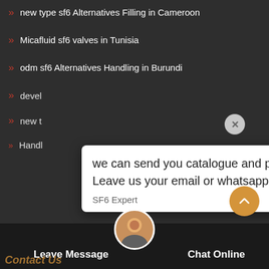new type sf6 Alternatives Filling in Cameroon
Micafluid sf6 valves in Tunisia
odm sf6 Alternatives Handling in Burundi
devel[...]
new t[...]
Handl[...]
[Figure (screenshot): Chat popup from SF6 Expert saying: we can send you catalogue and price list for you choosing. Leave us your email or whatsapp. Timestamp: just now]
low c[...]
wika sf6 Alternatives Maintenance in Azerbaijan
wika Insulated gas emissions in North America
Leave Message
Chat Online
Contact Us